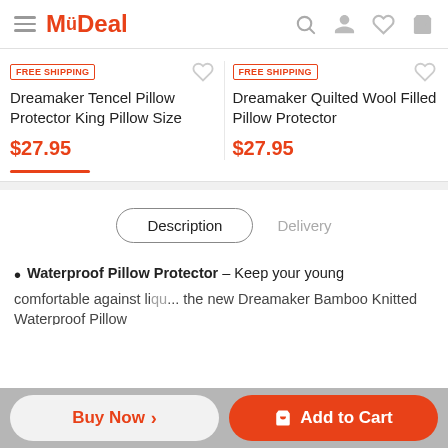MyDeal
FREE SHIPPING
Dreamaker Tencel Pillow Protector King Pillow Size
$27.95
FREE SHIPPING
Dreamaker Quilted Wool Filled Pillow Protector
$27.95
Description | Delivery
Waterproof Pillow Protector – Keep your young
comfortable against li... the new Dreamaker Bamboo Knitted Waterproof Pillow
Buy Now > | Add to Cart